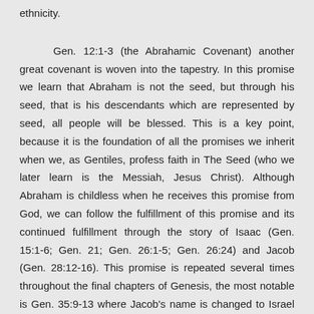ethnicity.
Gen. 12:1-3 (the Abrahamic Covenant) another great covenant is woven into the tapestry. In this promise we learn that Abraham is not the seed, but through his seed, that is his descendants which are represented by seed, all people will be blessed. This is a key point, because it is the foundation of all the promises we inherit when we, as Gentiles, profess faith in The Seed (who we later learn is the Messiah, Jesus Christ). Although Abraham is childless when he receives this promise from God, we can follow the fulfillment of this promise and its continued fulfillment through the story of Isaac (Gen. 15:1-6; Gen. 21; Gen. 26:1-5; Gen. 26:24) and Jacob (Gen. 28:12-16). This promise is repeated several times throughout the final chapters of Genesis, the most notable is Gen. 35:9-13 where Jacob's name is changed to Israel and the promise moves from a person to a nation. The covenant remains "unconditional" in that God will be the one to bring it to pass. A nation is a large entity to pull one promise out of, especially when that nation is formed by not